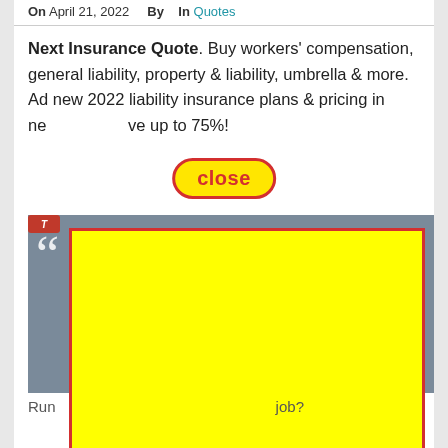On April 21, 2022  By  In Quotes
Next Insurance Quote. Buy workers' compensation, general liability, property & liability, umbrella & more. Ad new 2022 liability insurance plans & pricing in ne…ve up to 75%!
[Figure (screenshot): A close button (yellow pill with red text 'close' and red border) overlaying an advertisement. Below is an image with large quotation marks on a dark background with a red logo strip. A large yellow rectangle with red border overlays most of the image.]
Run… job?